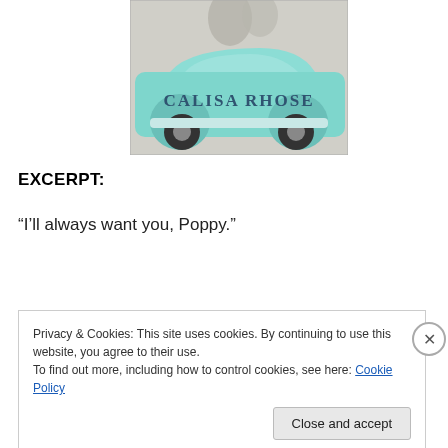[Figure (illustration): Book cover image showing a vintage mint-green car with silhouettes of two people kissing above. The text 'CALISA RHOSE' appears on the lower portion of the cover.]
EXCERPT:
“I’ll always want you, Poppy.”
Privacy & Cookies: This site uses cookies. By continuing to use this website, you agree to their use.
To find out more, including how to control cookies, see here: Cookie Policy
Close and accept